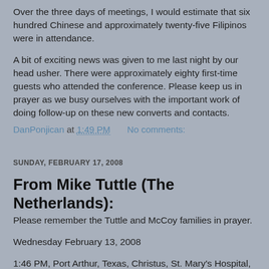Over the three days of meetings, I would estimate that six hundred Chinese and approximately twenty-five Filipinos were in attendance.
A bit of exciting news was given to me last night by our head usher. There were approximately eighty first-time guests who attended the conference. Please keep us in prayer as we busy ourselves with the important work of doing follow-up on these new converts and contacts.
DanPonjican at 1:49 PM    No comments:
SUNDAY, FEBRUARY 17, 2008
From Mike Tuttle (The Netherlands):
Please remember the Tuttle and McCoy families in prayer.
Wednesday February 13, 2008
1:46 PM, Port Arthur, Texas, Christus, St. Mary's Hospital, Vera Grace Tuttle, (the daughter of Matthew & Michelle Tuttle, granddaughter of Michael & Dianna Tuttle,